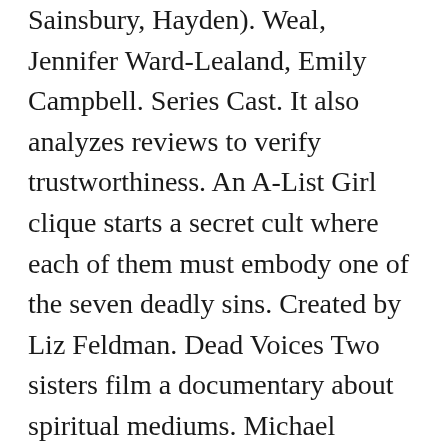Sainsbury, Hayden). Weal, Jennifer Ward-Lealand, Emily Campbell. Series Cast. It also analyzes reviews to verify trustworthiness. An A-List Girl clique starts a secret cult where each of them must embody one of the seven deadly sins. Created by Liz Feldman. Dead Voices Two sisters film a documentary about spiritual mediums. Michael Smiley. Allie Adams Carlos PenaVega. Now, he must fight for his life, and sanity, as he … See full summary ». … Brock Blennerhasset 6 episodes, 2020. Prime Video has you covered this holiday season with movies for the family. Dead Voices - A Documentary About Spiritual Mediums Available on Prime Video, Apple TV, Microsoft, Google Play, and YouTube DEAD VOICES - NOW STREAMING - AVAILABLE ON DVD If you're new,